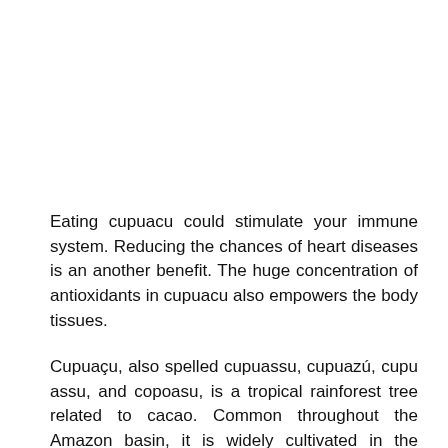Eating cupuacu could stimulate your immune system. Reducing the chances of heart diseases is an another benefit. The huge concentration of antioxidants in cupuacu also empowers the body tissues.
Cupuaçu, also spelled cupuassu, cupuazú, cupu assu, and copoasu, is a tropical rainforest tree related to cacao. Common throughout the Amazon basin, it is widely cultivated in the jungles of Colombia, Bolivia and Peru and in the north of Brazil, with the largest production in Pará, followed by Amazonas, Rondônia and Acre.